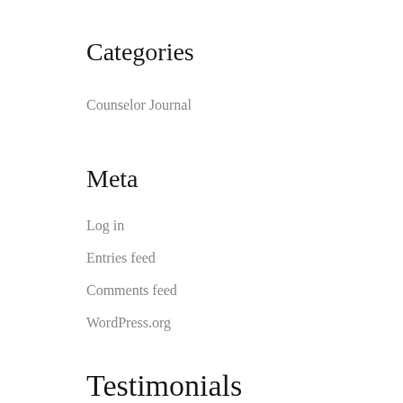Categories
Counselor Journal
Meta
Log in
Entries feed
Comments feed
WordPress.org
Testimonials
The Law Offices Of Bryan Yaldou, PLLC 4.8 ★★★★½
Brent Cada
a month ago